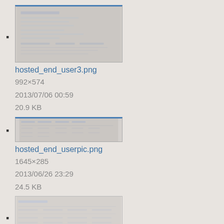hosted_end_user3.png
992×574
2013/07/06 00:59
20.9 KB
hosted_end_userpic.png
1645×285
2013/06/26 23:29
24.5 KB
hosted_user_groups.png
972×330
2014/03/18 23:30
11.6 KB
hosted_user_report_image.png
1218×109